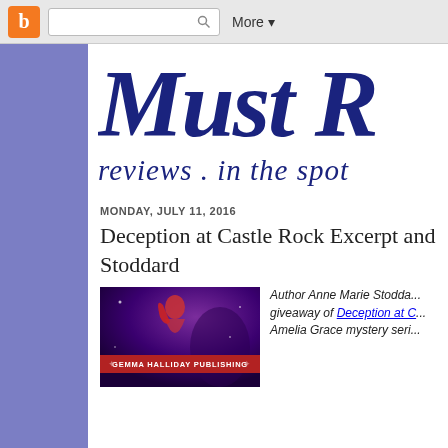Blogger navigation bar with search and More menu
[Figure (screenshot): Blog header showing 'Must R' in large dark navy italic serif font, with subtitle 'reviews . in the spot' in italic navy serif font, on white background with blue-purple left sidebar]
MONDAY, JULY 11, 2016
Deception at Castle Rock Excerpt and... Stoddard
[Figure (photo): Book cover for Deception at Castle Rock by Gemma Halliday Publishing, dark purple background with stylized figure, with red banner reading GEMMA HALLIDAY PUBLISHING]
Author Anne Marie Stodda... giveaway of Deception at C... Amelia Grace mystery seri...